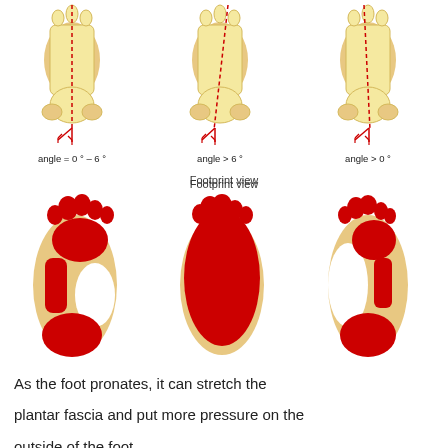[Figure (illustration): Three anatomical diagrams of foot bones (posterior/dorsal view) with red vertical dashed lines and angle markers at the bottom showing: left foot angle = 0°–6° (normal), middle foot angle > 6° (overpronation), right foot angle > 0° (underpronation/supination). Below each bone diagram is a footprint (pressure map) showing red contact areas on a tan foot outline: left is normal arch, middle shows flat/overpronated foot with large red area, right shows high-arch/supinated foot with less contact area.]
Footprint view
As the foot pronates, it can stretch the plantar fascia and put more pressure on the outside of the foot.